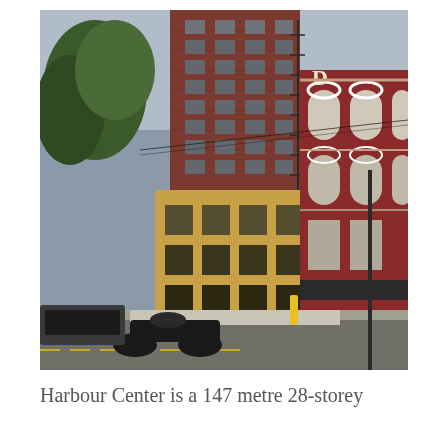[Figure (photo): Street-level photograph of historic urban buildings. Centre-left shows a tall multi-storey brick building with fire escapes and golden/yellow lower floors. To the right is a red brick building with white arched windows and partial lettering 'D' visible. Street in foreground has parked cars, a motorcycle, and a yellow bollard. Trees visible on left side. Overcast sky.]
Harbour Center is a 147 metre 28-storey